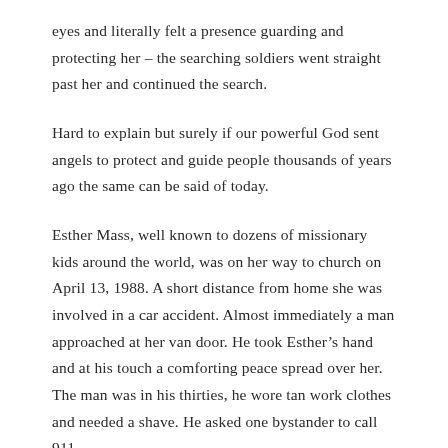eyes and literally felt a presence guarding and protecting her – the searching soldiers went straight past her and continued the search.
Hard to explain but surely if our powerful God sent angels to protect and guide people thousands of years ago the same can be said of today.
Esther Mass, well known to dozens of missionary kids around the world, was on her way to church on April 13, 1988. A short distance from home she was involved in a car accident. Almost immediately a man approached at her van door. He took Esther's hand and at his touch a comforting peace spread over her. The man was in his thirties, he wore tan work clothes and needed a shave. He asked one bystander to call 911.